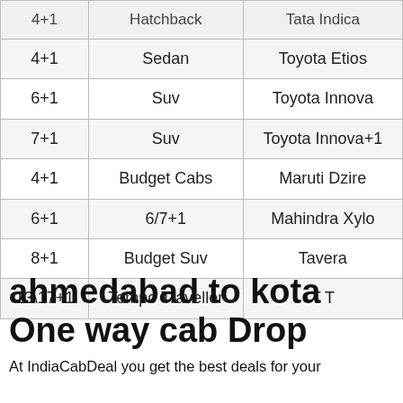|  |  |  |
| --- | --- | --- |
| 4+1 | Hatchback | Tata Indica |
| 4+1 | Sedan | Toyota Etios |
| 6+1 | Suv | Toyota Innova |
| 7+1 | Suv | Toyota Innova+1 |
| 4+1 | Budget Cabs | Maruti Dzire |
| 6+1 | 6/7+1 | Mahindra Xylo |
| 8+1 | Budget Suv | Tavera |
| 13\17+1 | Tempo Traveller | T T |
ahmedabad to kota One way cab Drop
At IndiaCabDeal you get the best deals for your